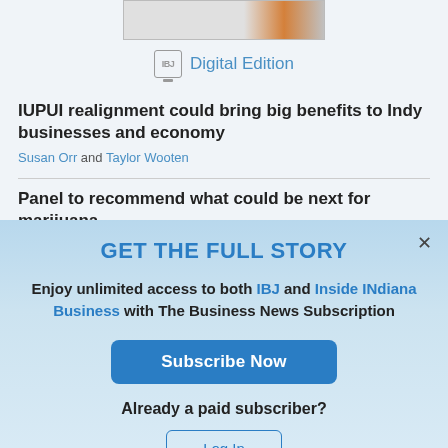[Figure (screenshot): Partial image bar at top of page showing a cropped website screenshot]
IBJ Digital Edition
IUPUI realignment could bring big benefits to Indy businesses and economy
Susan Orr and Taylor Wooten
Panel to recommend what could be next for marijuana
GET THE FULL STORY
Enjoy unlimited access to both IBJ and Inside INdiana Business with The Business News Subscription
Subscribe Now
Already a paid subscriber?
Log In